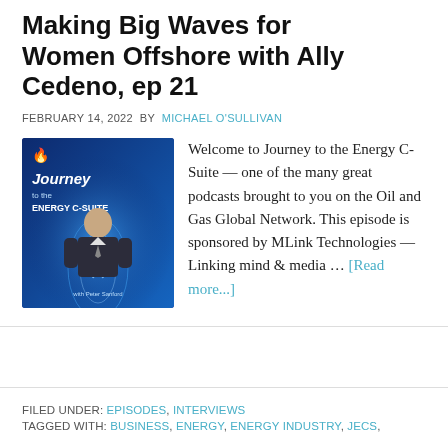Making Big Waves for Women Offshore with Ally Cedeno, ep 21
FEBRUARY 14, 2022 BY MICHAEL O'SULLIVAN
[Figure (illustration): Podcast cover art for 'Journey to the Energy C-Suite' showing a man in a suit against a blue glowing background with the show title text, hosted by Peter Sanford]
Welcome to Journey to the Energy C-Suite — one of the many great podcasts brought to you on the Oil and Gas Global Network. This episode is sponsored by MLink Technologies — Linking mind & media … [Read more...]
FILED UNDER: EPISODES, INTERVIEWS
TAGGED WITH: BUSINESS, ENERGY, ENERGY INDUSTRY, JECS,